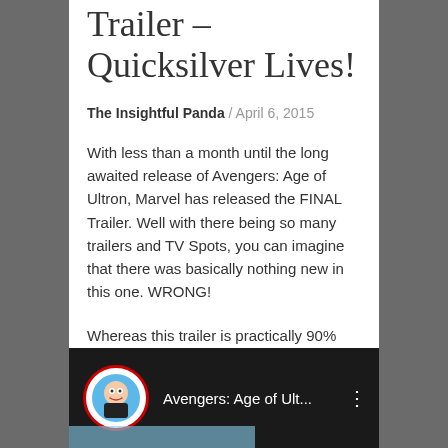Trailer – Quicksilver Lives!
The Insightful Panda / April 6, 2015
With less than a month until the long awaited release of Avengers: Age of Ultron, Marvel has released the FINAL Trailer. Well with there being so many trailers and TV Spots, you can imagine that there was basically nothing new in this one. WRONG!
Whereas this trailer is practically 90% the same as the previous TV Spots, there are two extended scenes that not only gives us some useful information; but also confirms one of our past theories – and puts everyone else's to rest. So let's begin.
[Figure (screenshot): YouTube video thumbnail showing Avengers: Age of Ult... with a cartoon avatar icon and three-dot menu on dark background]